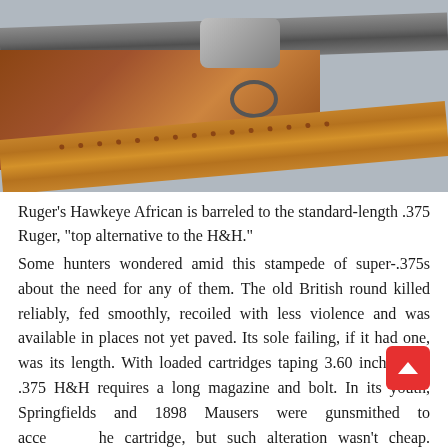[Figure (photo): A bolt-action rifle (Ruger Hawkeye African) with wooden stock and metallic bolt action, with a brown leather sling below it, photographed against a gray-blue background.]
Ruger's Hawkeye African is barreled to the standard-length .375 Ruger, “top alternative to the H&H.”
Some hunters wondered amid this stampede of super-.375s about the need for any of them. The old British round killed reliably, fed smoothly, recoiled with less violence and was available in places not yet paved. Its sole failing, if it had one, was its length. With loaded cartridges taping 3.60 inches, the .375 H&H requires a long magazine and bolt. In its youth, Springfields and 1898 Mausers were gunsmithed to accommodate the cartridge, but such alteration wasn’t cheap. While the 1917